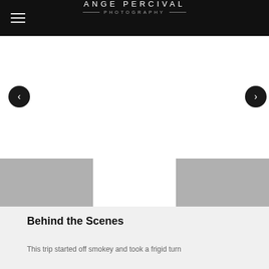ANGE PERCIVAL PHOTOGRAPHY
[Figure (screenshot): Navigation slider area with left and right arrow buttons on white background]
[Figure (photo): Two gray thumbnail image placeholders on a white strip]
Behind the Scenes
This trip started off smokey and took a frigid turn